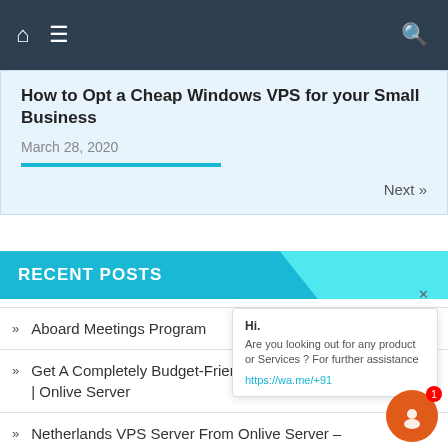Navigation bar with home, menu, and search icons
How to Opt a Cheap Windows VPS for your Small Business
March 28, 2020
Next »
RECENT POSTS
Aboard Meetings Program
Get A Completely Budget-Friendly Netherlan | Onlive Server
Netherlands VPS Server From Onlive Server – Choice for Website
Methods to Optimize Your Google Places Itemizing